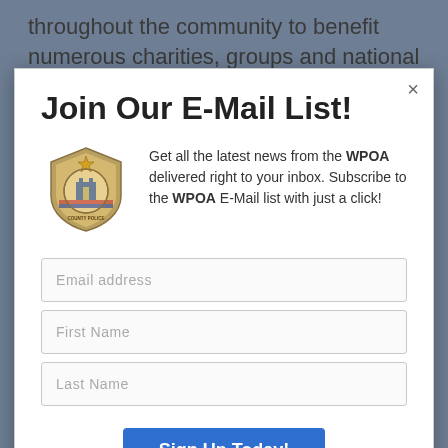throughout the community to benefit numerous charities, groups and national
Join Our E-Mail List!
[Figure (logo): Police officer badge/shield logo for WPOA (Washington Police Officers Association or similar), circular emblem with building and officer imagery]
Get all the latest news from the WPOA delivered right to your inbox. Subscribe to the WPOA E-Mail list with just a click!
Email address
First Name
Last Name
Sign Up Today!